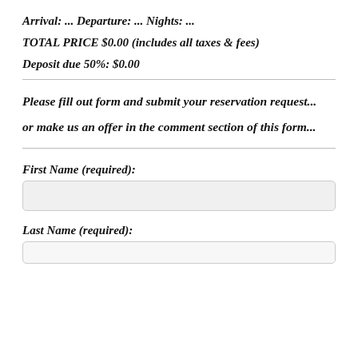Arrival: ... Departure: ... Nights: ...
TOTAL PRICE $0.00 (includes all taxes & fees)
Deposit due 50%: $0.00
Please fill out form and submit your reservation request...
or make us an offer in the comment section of this form...
First Name (required):
Last Name (required):